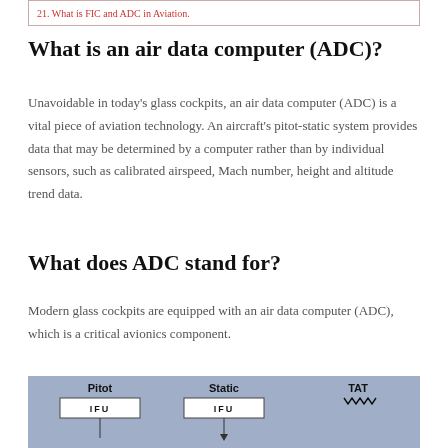21. What is FIC and ADC in Aviation.
What is an air data computer (ADC)?
Unavoidable in today's glass cockpits, an air data computer (ADC) is a vital piece of aviation technology. An aircraft's pitot-static system provides data that may be determined by a computer rather than by individual sensors, such as calibrated airspeed, Mach number, height and altitude trend data.
What does ADC stand for?
Modern glass cockpits are equipped with an air data computer (ADC), which is a critical avionics component.
[Figure (schematic): Diagram showing Pitot, Static, and TAT inputs each going through IFU boxes, with arrows indicating data flow downward.]